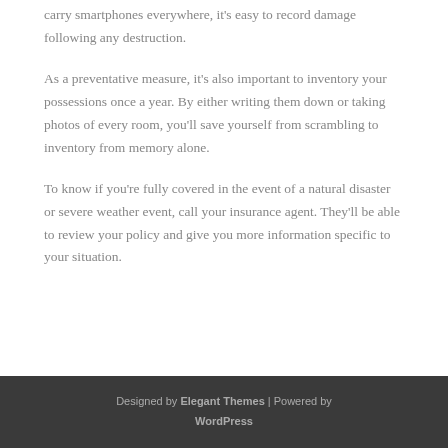carry smartphones everywhere, it's easy to record damage following any destruction.
As a preventative measure, it's also important to inventory your possessions once a year. By either writing them down or taking photos of every room, you'll save yourself from scrambling to inventory from memory alone.
To know if you're fully covered in the event of a natural disaster or severe weather event, call your insurance agent. They'll be able to review your policy and give you more information specific to your situation.
Designed by Elegant Themes | Powered by WordPress